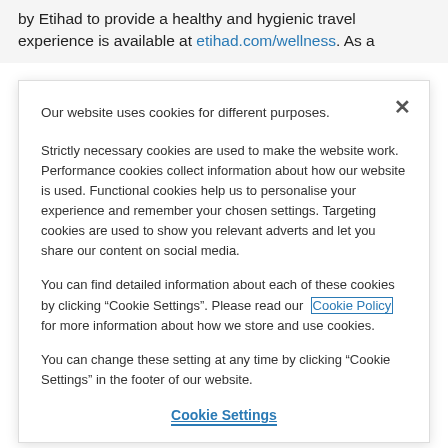by Etihad to provide a healthy and hygienic travel experience is available at etihad.com/wellness. As a
Our website uses cookies for different purposes.
Strictly necessary cookies are used to make the website work. Performance cookies collect information about how our website is used. Functional cookies help us to personalise your experience and remember your chosen settings. Targeting cookies are used to show you relevant adverts and let you share our content on social media.
You can find detailed information about each of these cookies by clicking “Cookie Settings”. Please read our Cookie Policy for more information about how we store and use cookies.
You can change these setting at any time by clicking “Cookie Settings” in the footer of our website.
Cookie Settings